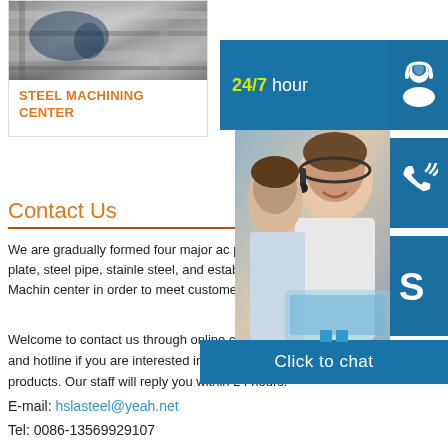[Figure (photo): Steel machining/metalworking close-up photo showing metallic surface]
STEEL MACHINING CENTER
[Figure (photo): Customer service representative smiling, wearing headset, with 24/7 hour support banner and blue icon buttons for support, phone, and Skype chat]
Contact Us
We are gradually formed four major ac products: steel plate, steel pipe, stainle steel, and established our own Machin center in order to meet customer's dive
Welcome to contact us through online consulting, emails and hotline if you are interested in our company or products. Our staff will reply you within 24 hours.
E-mail: hslasteel@yeah.net
Tel: 0086-13569929107
Address: 50 Guohuai Road, Henan Province